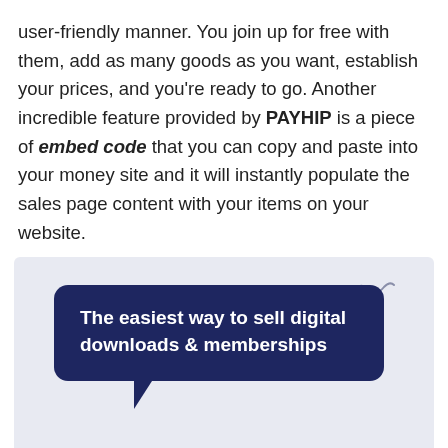user-friendly manner. You join up for free with them, add as many goods as you want, establish your prices, and you're ready to go. Another incredible feature provided by PAYHIP is a piece of embed code that you can copy and paste into your money site and it will instantly populate the sales page content with your items on your website.
[Figure (illustration): Light blue/lavender background panel with a dark navy speech bubble containing white text: 'The easiest way to sell digital downloads & memberships'. A small squiggle decoration appears in the upper right of the panel.]